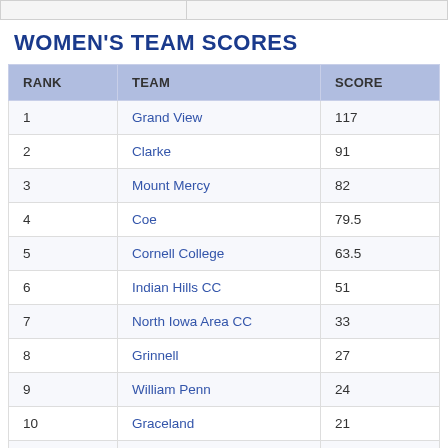WOMEN'S TEAM SCORES
| RANK | TEAM | SCORE |
| --- | --- | --- |
| 1 | Grand View | 117 |
| 2 | Clarke | 91 |
| 3 | Mount Mercy | 82 |
| 4 | Coe | 79.5 |
| 5 | Cornell College | 63.5 |
| 6 | Indian Hills CC | 51 |
| 7 | North Iowa Area CC | 33 |
| 8 | Grinnell | 27 |
| 9 | William Penn | 24 |
| 10 | Graceland | 21 |
| 10 | Southwestern CC | 21 |